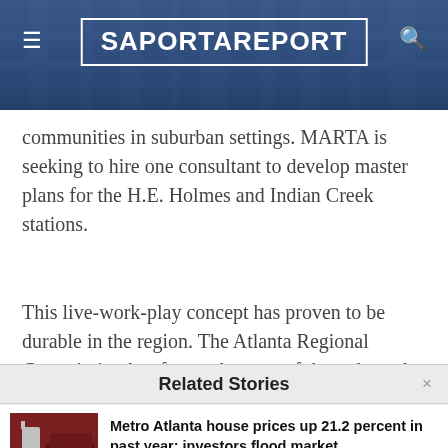[Figure (screenshot): SaportaReport website header with dark blue background showing city aerial photo, hamburger menu icon on left, search icon on right, and site logo in white text inside a white border box.]
communities in suburban settings. MARTA is seeking to hire one consultant to develop master plans for the H.E. Holmes and Indian Creek stations.
This live-work-play concept has proven to be durable in the region. The Atlanta Regional Commission has fostered scores of them through its Livable Centers Initiative. Urban planner Chris
Related Stories
Metro Atlanta house prices up 21.2 percent in past year; investors flood market